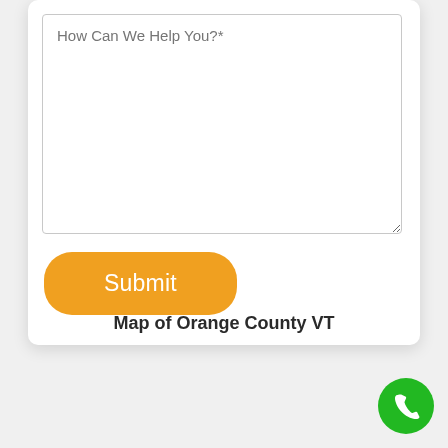[Figure (screenshot): A web form textarea with placeholder text 'How Can We Help You?*' and a rounded orange Submit button below it, inside a white card with rounded corners and shadow.]
How Can We Help You?*
Submit
Map of Orange County VT
[Figure (other): Green circular phone/call button icon in the bottom right corner]